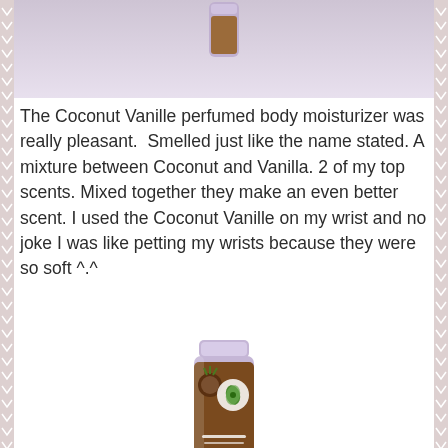The Coconut Vanille perfumed body moisturizer was really pleasant.  Smelled just like the name stated. A mixture between Coconut and Vanilla. 2 of my top scents. Mixed together they make an even better scent. I used the Coconut Vanille on my wrist and no joke I was like petting my wrists because they were so soft ^.^
[Figure (photo): A tube of Coconut Vanille perfumed body moisturizer with a lavender/white tube body and a brown label showing a coconut and other natural ingredients with a green leaf logo.]
The Coconut Vanille perfumed body moisturizer is avaialable in a 6oz bottle for $12.00 or a 2.5oz travel size for $7.00
The "Nate" Cocoa Perfume Organic Vanilla Dreaminess...